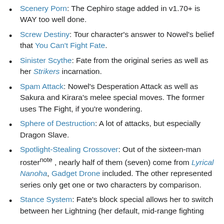Scenery Porn: The Cephiro stage added in v1.70+ is WAY too well done.
Screw Destiny: Tour character's answer to Nowel's belief that You Can't Fight Fate.
Sinister Scythe: Fate from the original series as well as her Strikers incarnation.
Spam Attack: Nowel's Desperation Attack as well as Sakura and Kirara's melee special moves. The former uses The Fight, if you're wondering.
Sphere of Destruction: A lot of attacks, but especially Dragon Slave.
Spotlight-Stealing Crossover: Out of the sixteen-man rosternote , nearly half of them (seven) come from Lyrical Nanoha, Gadget Drone included. The other represented series only get one or two characters by comparison.
Stance System: Fate's block special allows her to switch between her Lightning (her default, mid-range fighting